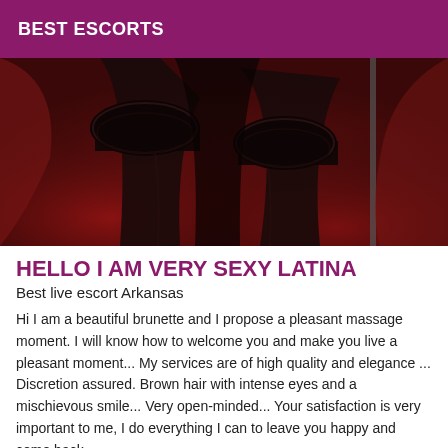BEST ESCORTS
[Figure (photo): Photo of legs wearing black lace stockings against a red backdrop]
HELLO I AM VERY SEXY LATINA
Best live escort Arkansas
Hi I am a beautiful brunette and I propose a pleasant massage moment. I will know how to welcome you and make you live a pleasant moment... My services are of high quality and elegance ... Discretion assured. Brown hair with intense eyes and a mischievous smile... Very open-minded... Your satisfaction is very important to me, I do everything I can to leave you happy and come back